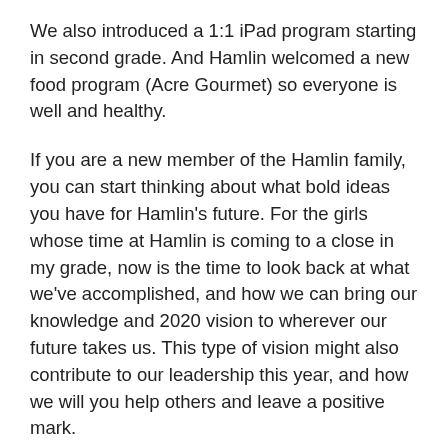We also introduced a 1:1 iPad program starting in second grade. And Hamlin welcomed a new food program (Acre Gourmet) so everyone is well and healthy.
If you are a new member of the Hamlin family, you can start thinking about what bold ideas you have for Hamlin's future. For the girls whose time at Hamlin is coming to a close in my grade, now is the time to look back at what we've accomplished, and how we can bring our knowledge and 2020 vision to wherever our future takes us. This type of vision might also contribute to our leadership this year, and how we will you help others and leave a positive mark.
The theme of this year is so important because it is all about clarity and focus. It is symbolic for courage, change, and thinking about the amazing year ahead of us. With the theme, We Have 20/20 Vision, in mind, as well as the mission and creed, I am so excited to see what amazing 20/20 visions you all bring to this school year, and many more years to come.